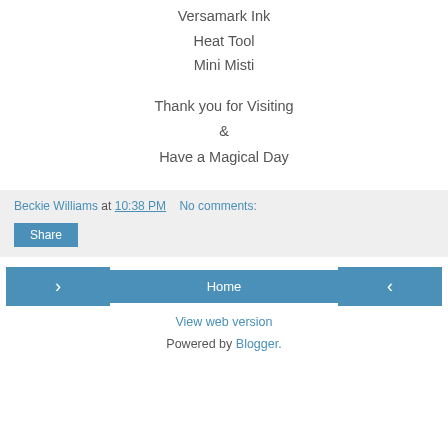Versamark Ink
Heat Tool
Mini Misti
Thank you for Visiting
&
Have a Magical Day
Beckie Williams at 10:38 PM    No comments:
Share
Home
View web version
Powered by Blogger.